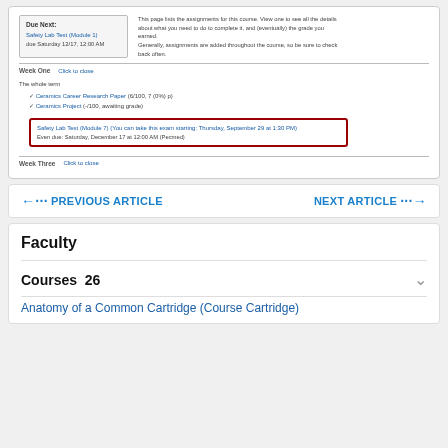[Figure (screenshot): Screenshot of a course assignments page showing 'Due Next: Safety Lab Test (Module 1) due Saturday 12/17, 12:00 AM', assignment list with Ceramics Career Research Paper, Ceramics Project, and highlighted Safety Lab Test (Module 7) with exam availability and due date info. Week One and Week Three sections visible.]
← PREVIOUS ARTICLE    NEXT ARTICLE →
Faculty
Courses 26
Anatomy of a Common Cartridge (Course Cartridge)